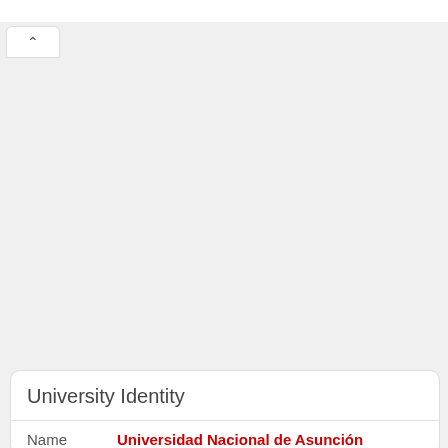University Identity
Name	Universidad Nacional de Asunción